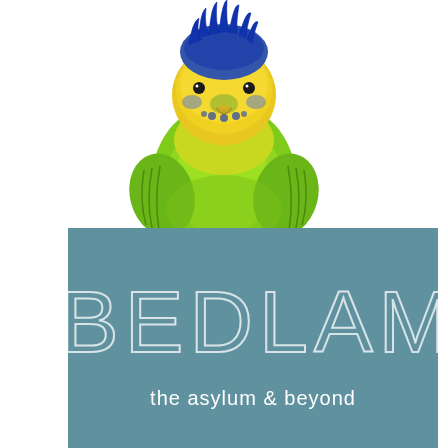[Figure (illustration): A budgerigar (parakeet) viewed from the front, showing bright yellow head with blue markings and vivid lime-green body feathers, photographed against a white background from a slightly elevated angle looking down.]
BEDLAM
the asylum & beyond